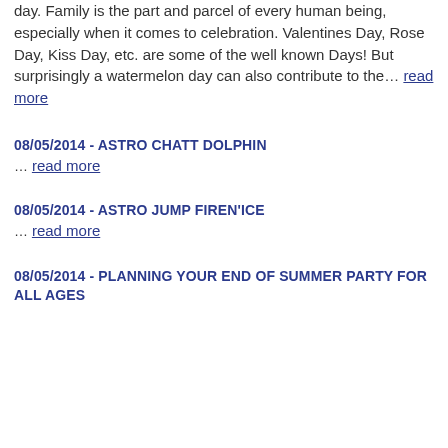day. Family is the part and parcel of every human being, especially when it comes to celebration. Valentines Day, Rose Day, Kiss Day, etc. are some of the well known Days! But surprisingly a watermelon day can also contribute to the… read more
08/05/2014 - ASTRO CHATT DOLPHIN
… read more
08/05/2014 - ASTRO JUMP FIREN'ICE
… read more
08/05/2014 - PLANNING YOUR END OF SUMMER PARTY FOR ALL AGES